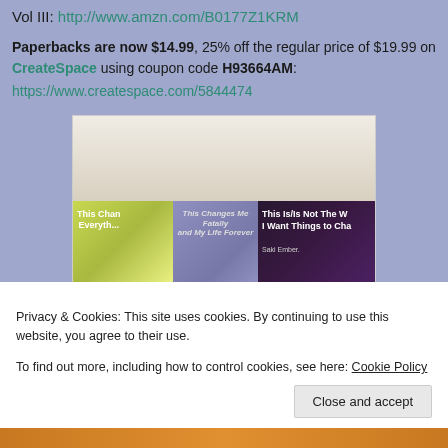Vol III: http://www.amzn.com/B0177Z1KRM
Paperbacks are now $14.99, 25% off the regular price of $19.99 on CreateSpace using coupon code H93664AM: https://www.createspace.com/5844474
[Figure (photo): Photo of three paperback books displayed side by side, showing book covers with artwork. Left book shows colorful cover with 'This Chan... Everyth...' text, middle book has similar style, right book shows 'This Is/Is Not The W... I Want Things to Cha...' with dark background.]
Privacy & Cookies: This site uses cookies. By continuing to use this website, you agree to their use.
To find out more, including how to control cookies, see here: Cookie Policy
Close and accept